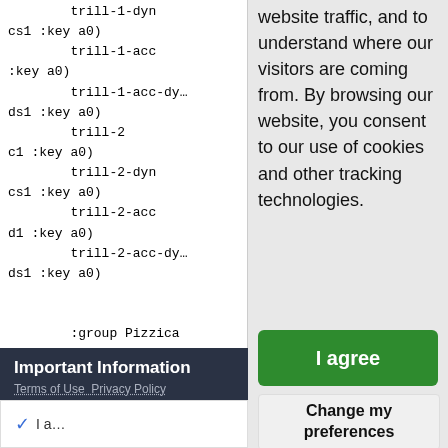trill-1-dyn
cs1 :key a0)
        trill-1-acc
:key a0)
        trill-1-acc-dyn
ds1 :key a0)
        trill-2
c1 :key a0)
        trill-2-dyn
cs1 :key a0)
        trill-2-acc
d1 :key a0)
        trill-2-acc-dyn
ds1 :key a0)

        :group Pizzica
website traffic, and to understand where our visitors are coming from. By browsing our website, you consent to our use of cookies and other tracking technologies.
Important Information
Terms of Use Privacy Policy
I agree
Change my preferences